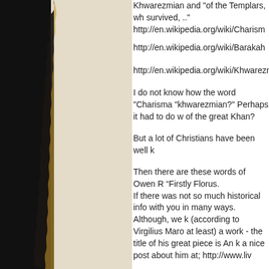Khwarezmian and "of the Templars, wh survived, .."
http://en.wikipedia.org/wiki/Charism
http://en.wikipedia.org/wiki/Barakah
http://en.wikipedia.org/wiki/Khwarezm
I do not know how the word "Charisma "khwarezmian?" Perhaps it had to do w of the great Khan?
But a lot of Christians have been well k
Then there are these words of Owen R “Firstly Florus.
If there was not so much historical info with you in many ways. Although, we k (according to Virgilius Maro at least) a work - the title of his great piece is An k a nice post about him at; http://www.liv
Also, I think I’m right in saying that Flo be a nickname of him or his father. No maybe his poetry?
As for the Theban Sacred Band, the b